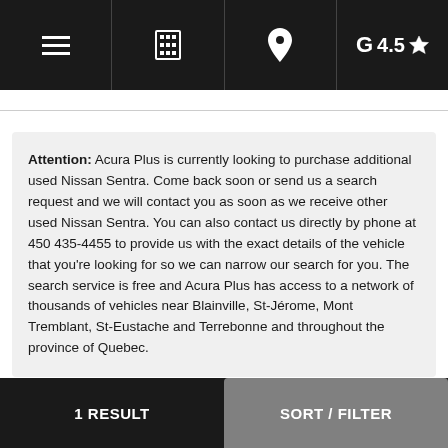Navigation bar with hamburger menu, building icon, location pin icon, and Google rating 4.5 star
Attention: Acura Plus is currently looking to purchase additional used Nissan Sentra. Come back soon or send us a search request and we will contact you as soon as we receive other used Nissan Sentra. You can also contact us directly by phone at 450 435-4455 to provide us with the exact details of the vehicle that you're looking for so we can narrow our search for you. The search service is free and Acura Plus has access to a network of thousands of vehicles near Blainville, St-Jérome, Mont Tremblant, St-Eustache and Terrebonne and throughout the province of Quebec.
1 RESULT   SORT / FILTER